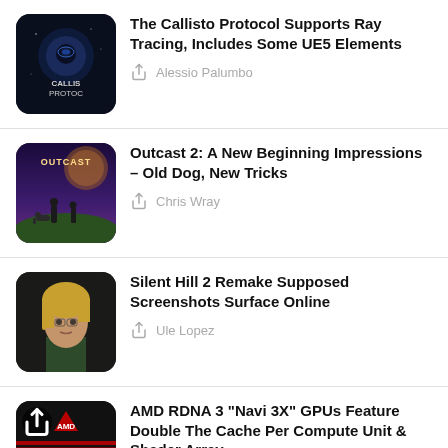The Callisto Protocol Supports Ray Tracing, Includes Some UE5 Elements — Alessio Palumbo
Outcast 2: A New Beginning Impressions – Old Dog, New Tricks — Chris Wray
Silent Hill 2 Remake Supposed Screenshots Surface Online — Ule Lopez
AMD RDNA 3 "Navi 3X" GPUs Feature Double The Cache Per Compute Unit & Shader Array — Hassan Mujtaba